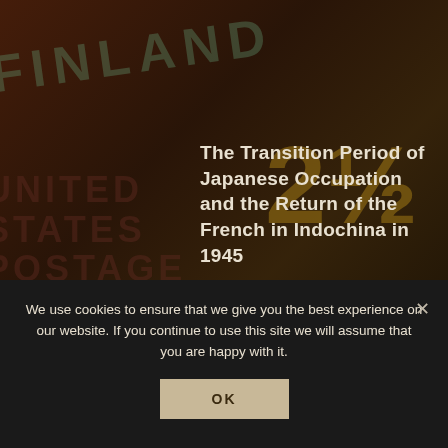[Figure (photo): Dark background with overlapping vintage postage stamps including a green Finland stamp, dark red United States stamp, and a yellow/gold stamp with the number 2½. The image is heavily darkened serving as a page background.]
The Transition Period of Japanese Occupation and the Return of the French in Indochina in 1945
2018-01-12
ABOUT
We use cookies to ensure that we give you the best experience on our website. If you continue to use this site we will assume that you are happy with it.
OK